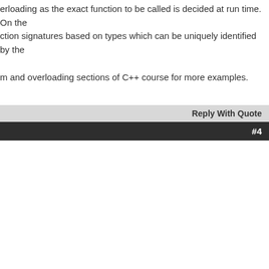erloading as the exact function to be called is decided at run time. On the ction signatures based on types which can be uniquely identified by the
m and overloading sections of C++ course for more examples.
Reply With Quote
#4
Reply With Quote
Quick Navigation  Programming With C++  Top
Thread »